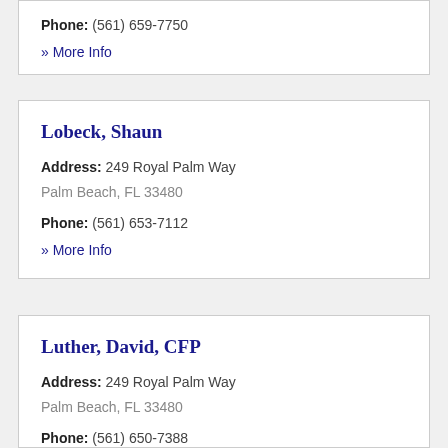Phone: (561) 659-7750
» More Info
Lobeck, Shaun
Address: 249 Royal Palm Way
Palm Beach, FL 33480
Phone: (561) 653-7112
» More Info
Luther, David, CFP
Address: 249 Royal Palm Way
Palm Beach, FL 33480
Phone: (561) 650-7388
» More Info